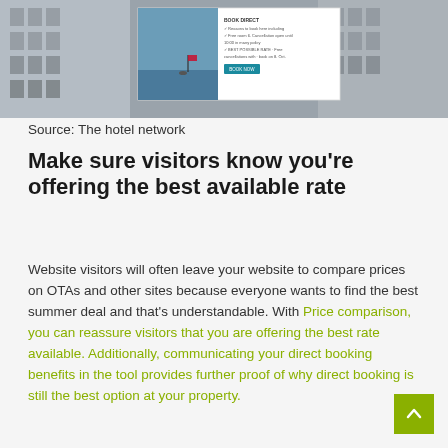[Figure (screenshot): Screenshot of a hotel website showing a price comparison popup overlay with a lake/outdoor hero image on the left and booking text with a 'BOOK NOW' button on the right, against a background of hotel buildings.]
Source: The hotel network
Make sure visitors know you're offering the best available rate
Website visitors will often leave your website to compare prices on OTAs and other sites because everyone wants to find the best summer deal and that's understandable. With Price comparison, you can reassure visitors that you are offering the best rate available. Additionally, communicating your direct booking benefits in the tool provides further proof of why direct booking is still the best option at your property.